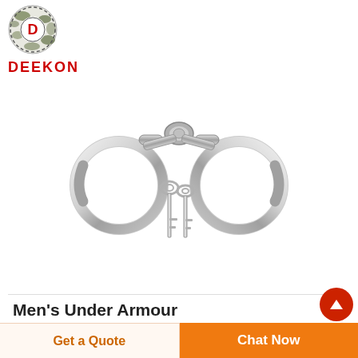[Figure (logo): Deekon brand logo: circular camouflage-pattern emblem with letter D in center, red bold DEEKON text below]
[Figure (photo): Pair of shiny chrome metal handcuffs with two keys hanging below the center link]
Men's Under Armour
Get a Quote
Chat Now